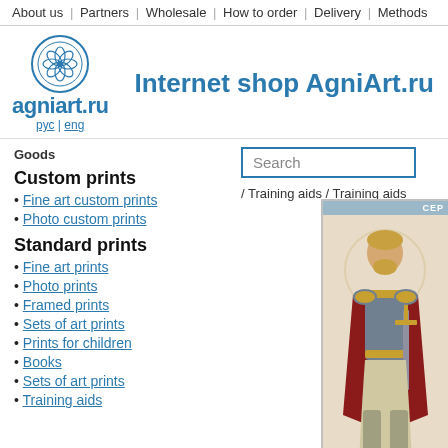About us | Partners | Wholesale | How to order | Delivery | Methods
[Figure (logo): AgniArt.ru logo with lotus circle icon, text 'agniart.ru' in blue, language links рус | eng]
Internet shop AgniArt.ru
Goods
Custom prints
Fine art custom prints
Photo custom prints
Standard prints
Fine art prints
Photo prints
Framed prints
Sets of art prints
Prints for children
Books
Sets of art prints
Training aids
/ Training aids / Training aids
[Figure (illustration): Illustration of a medieval warrior/saint figure in armor with red cape, holding a sword, with Cyrillic text label at top]